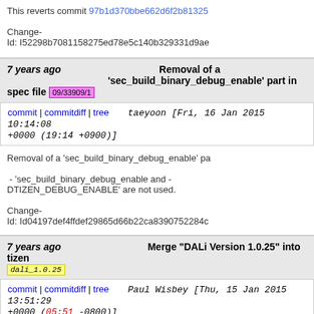This reverts commit 97b1d370bbe662d6f2b81325
Change-Id: I52298b7081158275ed78e5c140b329331d9ae
7 years ago   Removal of a 'sec_build_binary_debug_enable' part in spec file  09/33909/1
commit | commitdiff | tree   taeyoon [Fri, 16 Jan 2015 10:14:08 +0000 (19:14 +0900)]
Removal of a 'sec_build_binary_debug_enable' pa
 - 'sec_build_binary_debug_enable and -DTIZEN_DEBUG_ENABLE' are not used.
Change-Id: Id04197def4ffdef29865d66b22ca83907522840
7 years ago   Merge "DALi Version 1.0.25" into tizen   dali_1.0.25
commit | commitdiff | tree   Paul Wisbey [Thu, 15 Jan 2015 13:51:29 +0000 (05:51 -0800)]
Merge "DALi Version 1.0.25" into tizen
7 years ago   DALi Version 1.0.25